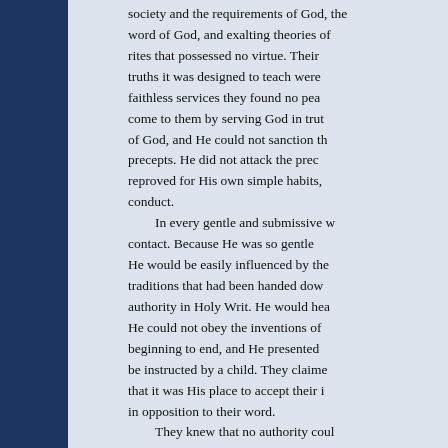society and the requirements of God, the word of God, and exalting theories of rites that possessed no virtue. Their truths it was designed to teach were faithless services they found no peace come to them by serving God in truth of God, and He could not sanction the precepts. He did not attack the precepts reproved for His own simple habits, conduct.

In every gentle and submissive way contact. Because He was so gentle He would be easily influenced by the traditions that had been handed down authority in Holy Writ. He would heat He could not obey the inventions of beginning to end, and He presented be instructed by a child. They claimed that it was His place to accept their in opposition to their word.

They knew that no authority could that in spiritual understanding Jesus because He did not obey their dictat Mary, and set before them His course censure.

At a very early age, Jesus had be